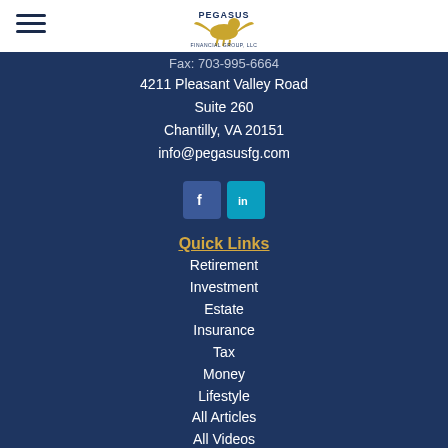[Figure (logo): Pegasus Financial Group LLC logo with winged horse]
Fax: 703-995-6664
4211 Pleasant Valley Road
Suite 260
Chantilly, VA 20151
info@pegasusfg.com
[Figure (other): Facebook and LinkedIn social media icons]
Quick Links
Retirement
Investment
Estate
Insurance
Tax
Money
Lifestyle
All Articles
All Videos